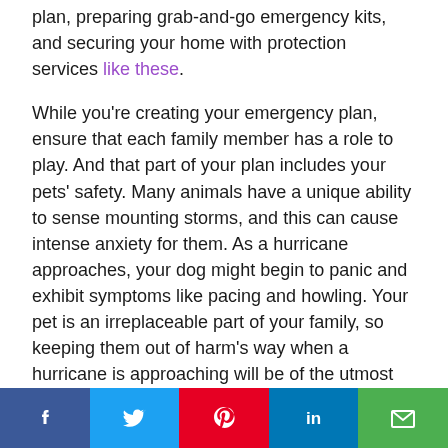plan, preparing grab-and-go emergency kits, and securing your home with protection services like these.
While you're creating your emergency plan, ensure that each family member has a role to play. And that part of your plan includes your pets' safety. Many animals have a unique ability to sense mounting storms, and this can cause intense anxiety for them. As a hurricane approaches, your dog might begin to panic and exhibit symptoms like pacing and howling. Your pet is an irreplaceable part of your family, so keeping them out of harm's way when a hurricane is approaching will be of the utmost importance to you. Consider these five tips to keep your pets safe when in the face of a storm.
Include pet essentials in your go-bags
When officials issue evacuation alerts with short...
Facebook Twitter Pinterest LinkedIn Email